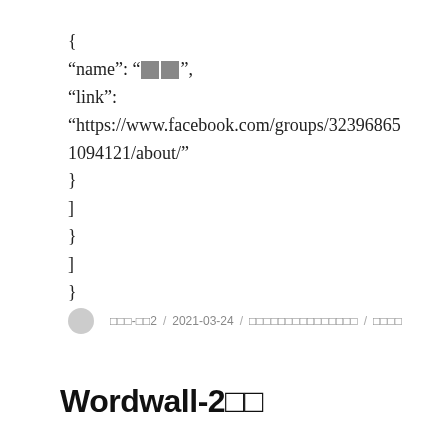{
"name": "[REDACTED][REDACTED]",
"link":
"https://www.facebook.com/groups/323968651094121/about/"
}
]
}
]
}
[avatar] [redacted]-[redacted]2 / 2021-03-24 / [redacted category] / [redacted]
Wordwall-2[redacted][redacted]